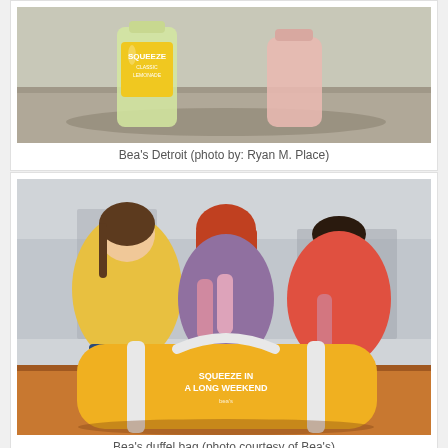[Figure (photo): Photo of Squeeze Classic Lemonade bottle and a pink drink on a concrete surface, taken by Ryan M. Place]
Bea's Detroit (photo by: Ryan M. Place)
[Figure (photo): Three young women sitting outdoors, one in yellow shirt, one with red hair, one in coral shirt, clinking bottles, with a yellow duffel bag in the foreground reading 'Squeeze in a Long Weekend']
Bea's duffel bag (photo courtesy of Bea's)